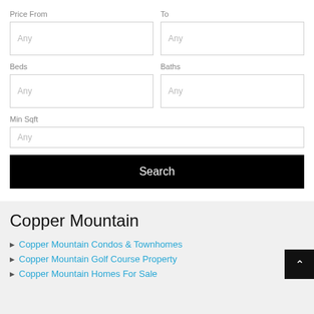Price From
To
Any
Any
Beds
Baths
Any
Any
Min Sqft
Any
Search
Copper Mountain
Copper Mountain Condos & Townhomes
Copper Mountain Golf Course Property
Copper Mountain Homes For Sale